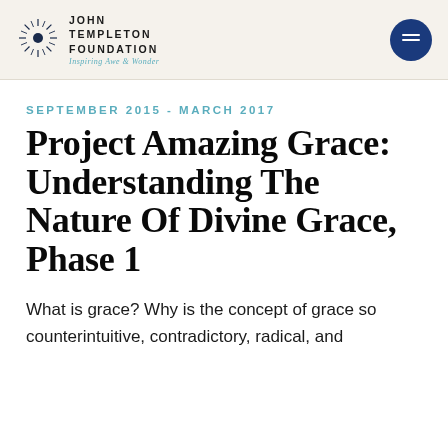[Figure (logo): John Templeton Foundation logo with starburst icon and tagline 'Inspiring Awe & Wonder']
September 2015 - March 2017
Project Amazing Grace: Understanding The Nature Of Divine Grace, Phase 1
What is grace? Why is the concept of grace so counterintuitive, contradictory, radical, and